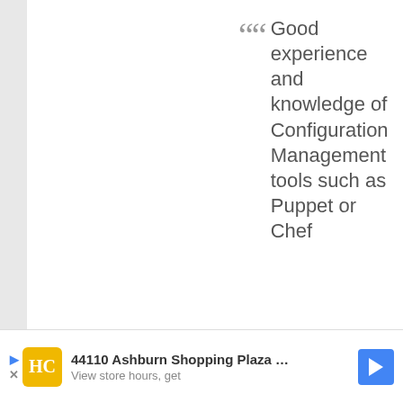“ Good experience and knowledge of Configuration Management tools such as Puppet or Chef
I guess it must be startup stuff right ?
… I suggest you peek over your MS / Windows Wall and see just how much more advanced the Linux side is, it will probably be a rude awakening…
Edited 2014-07-11 10:53 UTC
[Figure (other): Advertisement banner with HC logo, text '44110 Ashburn Shopping Plaza ...' and 'View store hours, get', a blue navigation arrow icon, and a blue play/forward arrow on left]